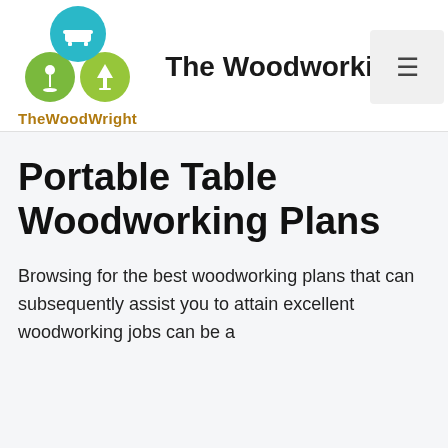[Figure (logo): TheWoodWright logo with three overlapping circles (teal, green, olive-green) containing furniture icons and the text TheWoodWright below]
The Woodworkin
Portable Table Woodworking Plans
Browsing for the best woodworking plans that can subsequently assist you to attain excellent woodworking jobs can be a